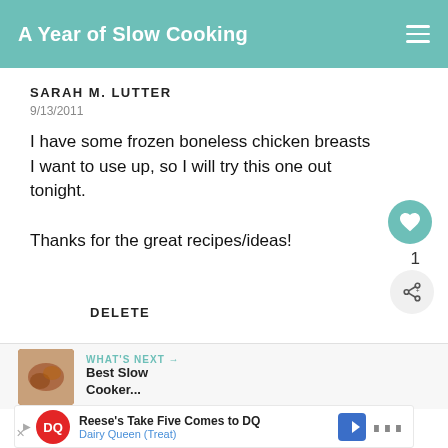A Year of Slow Cooking
SARAH M. LUTTER
9/13/2011
I have some frozen boneless chicken breasts I want to use up, so I will try this one out tonight.

Thanks for the great recipes/ideas!
1
DELETE
WHAT'S NEXT → Best Slow Cooker...
[Figure (screenshot): Advertisement banner: Reese's Take Five Comes to DQ - Dairy Queen (Treat)]